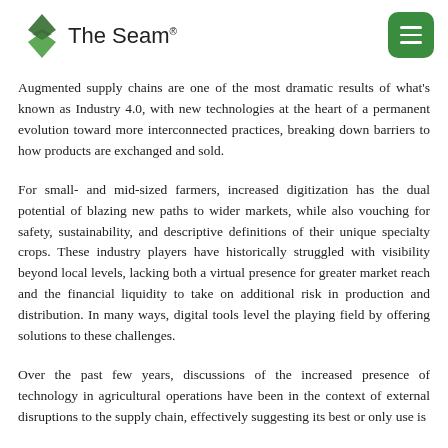The Seam®
Augmented supply chains are one of the most dramatic results of what's known as Industry 4.0, with new technologies at the heart of a permanent evolution toward more interconnected practices, breaking down barriers to how products are exchanged and sold.
For small- and mid-sized farmers, increased digitization has the dual potential of blazing new paths to wider markets, while also vouching for safety, sustainability, and descriptive definitions of their unique specialty crops. These industry players have historically struggled with visibility beyond local levels, lacking both a virtual presence for greater market reach and the financial liquidity to take on additional risk in production and distribution. In many ways, digital tools level the playing field by offering solutions to these challenges.
Over the past few years, discussions of the increased presence of technology in agricultural operations have been in the context of external disruptions to the supply chain, effectively suggesting its best or only use is